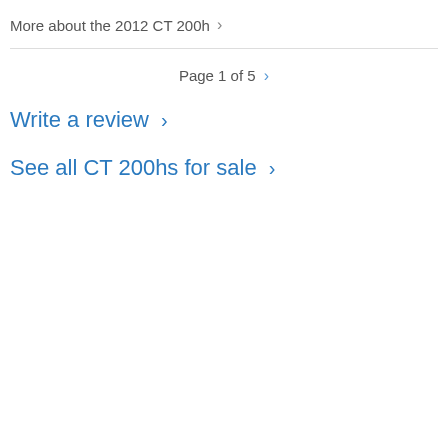More about the 2012 CT 200h >
Page 1 of 5 >
Write a review >
See all CT 200hs for sale >